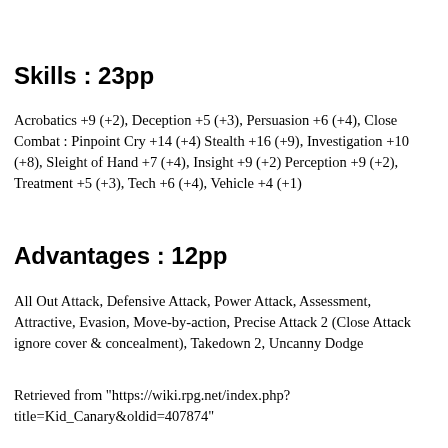Skills : 23pp
Acrobatics +9 (+2), Deception +5 (+3), Persuasion +6 (+4), Close Combat : Pinpoint Cry +14 (+4) Stealth +16 (+9), Investigation +10 (+8), Sleight of Hand +7 (+4), Insight +9 (+2) Perception +9 (+2), Treatment +5 (+3), Tech +6 (+4), Vehicle +4 (+1)
Advantages : 12pp
All Out Attack, Defensive Attack, Power Attack, Assessment, Attractive, Evasion, Move-by-action, Precise Attack 2 (Close Attack ignore cover & concealment), Takedown 2, Uncanny Dodge
Retrieved from "https://wiki.rpg.net/index.php?title=Kid_Canary&oldid=407874"